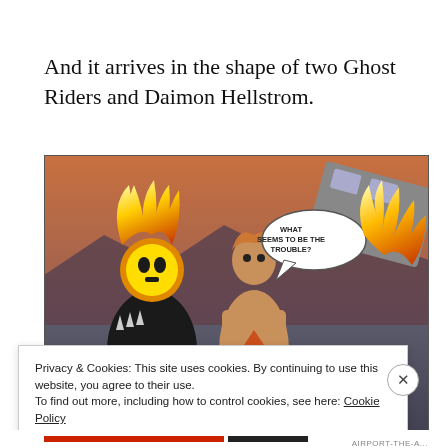And it arrives in the shape of two Ghost Riders and Daimon Hellstrom.
[Figure (illustration): Comic book panel showing Ghost Rider (flaming skull head, spiked leather jacket) on the left, a shirtless muscular man (Daimon Hellstrom) in the center with a speech bubble reading 'WHAT SEEMS TO BE THE TROUBLE?', and flames on the right side. Desert highway background with a crashed vehicle.]
Privacy & Cookies: This site uses cookies. By continuing to use this website, you agree to their use.
To find out more, including how to control cookies, see here: Cookie Policy
Close and accept
AIRPORT-THE-A...